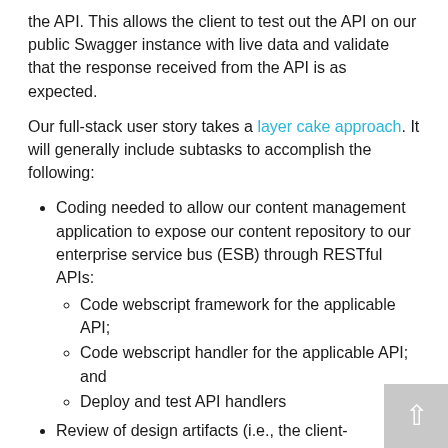the API. This allows the client to test out the API on our public Swagger instance with live data and validate that the response received from the API is as expected.
Our full-stack user story takes a layer cake approach. It will generally include subtasks to accomplish the following:
Coding needed to allow our content management application to expose our content repository to our enterprise service bus (ESB) through RESTful APIs:
Code webscript framework for the applicable API;
Code webscript handler for the applicable API; and
Deploy and test API handlers
Review of design artifacts (i.e., the client-